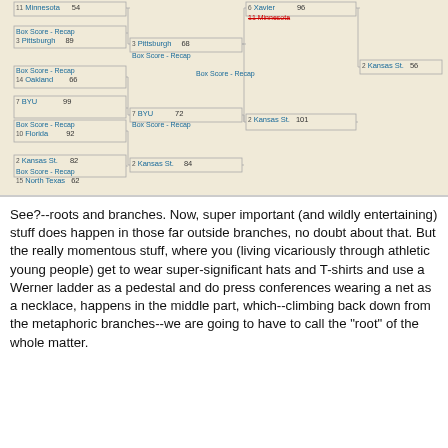[Figure (other): NCAA tournament bracket showing results: Minnesota 54, Pittsburgh 89, Oakland 66, BYU 99, Florida 92, Kansas St. 82, North Texas 62 in first column; Pittsburgh 68, BYU 72, Kansas St. 84 in second column; Xavier 96, Kansas St. 101 in third column; Kansas St. 56 in fourth column. Links for Box Score - Recap shown between rounds.]
See?--roots and branches. Now, super important (and wildly entertaining) stuff does happen in those far outside branches, no doubt about that. But the really momentous stuff, where you (living vicariously through athletic young people) get to wear super-significant hats and T-shirts and use a Werner ladder as a pedestal and do press conferences wearing a net as a necklace, happens in the middle part, which--climbing back down from the metaphoric branches--we are going to have to call the "root" of the whole matter.